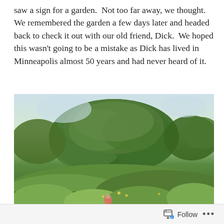saw a sign for a garden. Not too far away, we thought. We remembered the garden a few days later and headed back to check it out with our old friend, Dick. We hoped this wasn't going to be a mistake as Dick has lived in Minneapolis almost 50 years and had never heard of it.
[Figure (photo): Outdoor scene showing a large tree with an expansive canopy surrounded by lush green vegetation and brush. Small figures visible in the foreground among wild plants.]
Follow ...